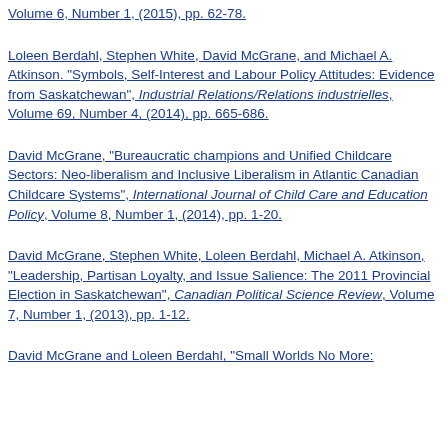Volume 6, Number 1, (2015), pp. 62-78.
Loleen Berdahl, Stephen White, David McGrane, and Michael A. Atkinson. "Symbols, Self-Interest and Labour Policy Attitudes: Evidence from Saskatchewan", Industrial Relations/Relations industrielles, Volume 69, Number 4, (2014), pp. 665-686.
David McGrane, "Bureaucratic champions and Unified Childcare Sectors: Neo-liberalism and Inclusive Liberalism in Atlantic Canadian Childcare Systems", International Journal of Child Care and Education Policy, Volume 8, Number 1, (2014), pp. 1-20.
David McGrane, Stephen White, Loleen Berdahl, Michael A. Atkinson, "Leadership, Partisan Loyalty, and Issue Salience: The 2011 Provincial Election in Saskatchewan", Canadian Political Science Review, Volume 7, Number 1, (2013), pp. 1-12.
David McGrane and Loleen Berdahl, "Small Worlds No More: